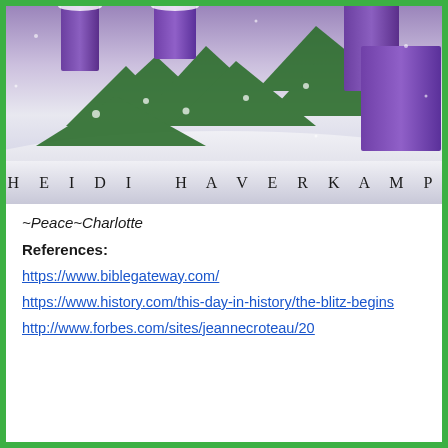[Figure (photo): Book cover or decorative image showing purple advent candles on a snowy white surface with green pine branches, with author name 'HEIDI HAVERKAMP' displayed at the bottom in spaced serif letters]
~Peace~Charlotte
References:
https://www.biblegateway.com/
https://www.history.com/this-day-in-history/the-blitz-begins
http://www.forbes.com/sites/jeannecroteau/20